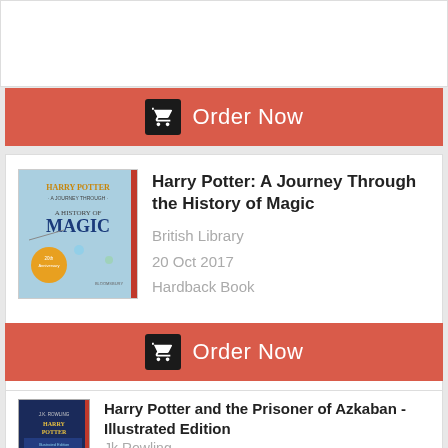[Figure (screenshot): Top portion of a previous product card, white background, partially visible]
Order Now
[Figure (photo): Harry Potter: A Journey Through the History of Magic book cover – light blue illustrated cover with Harry Potter branding]
Harry Potter: A Journey Through the History of Magic
British Library
20 Oct 2017
Hardback Book
$21.99
Order Now
[Figure (photo): Harry Potter and the Prisoner of Azkaban Illustrated Edition book cover – dark blue illustrated cover]
Harry Potter and the Prisoner of Azkaban - Illustrated Edition
Jk Rowling